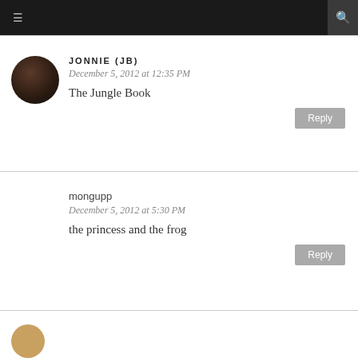≡  🔍
JONNIE (JB)
December 5, 2012 at 12:35 PM
The Jungle Book
mongupp
December 5, 2012 at 5:30 PM
the princess and the frog